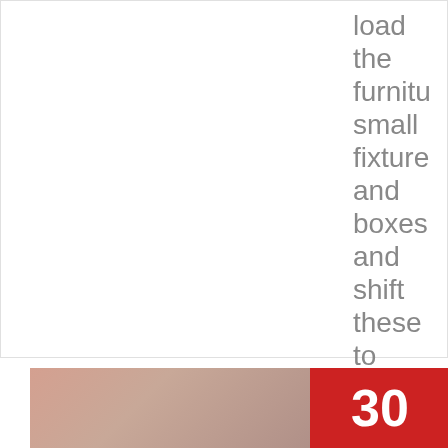load the furniture small fixtures and boxes and shift these to the other place. At...
[Figure (photo): Partial view of a card/article block with a photo on the lower left (warm skin/peach tones) and a red rectangle with a white number '30' on the right.]